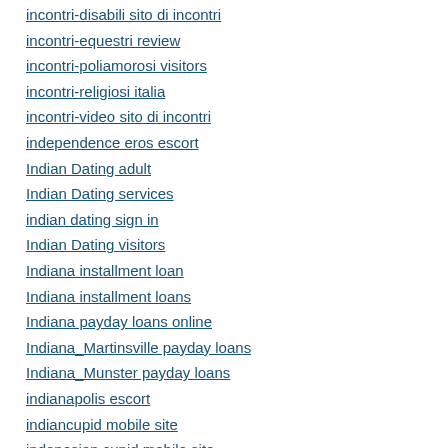incontri-disabili sito di incontri
incontri-equestri review
incontri-poliamorosi visitors
incontri-religiosi italia
incontri-video sito di incontri
independence eros escort
Indian Dating adult
Indian Dating services
indian dating sign in
Indian Dating visitors
Indiana installment loan
Indiana installment loans
Indiana payday loans online
Indiana_Martinsville payday loans
Indiana_Munster payday loans
indianapolis escort
indiancupid mobile site
indonesian cupid mobile site
indonesian-dating review